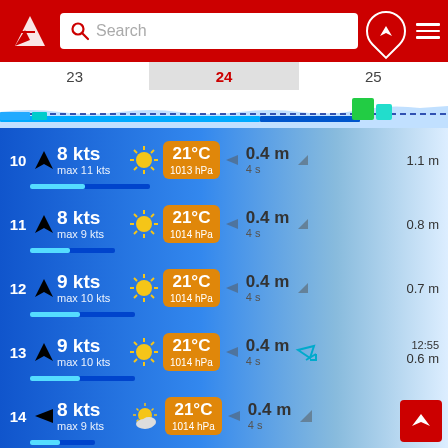[Figure (screenshot): Mobile weather app header with red background, logo, search bar, and navigation icons]
23   24   25
[Figure (continuous-plot): Wind/wave forecast chart strip showing colored bands for days 23, 24, 25 with green spike on day 25]
| Hour | Wind Speed | Wind Max | Weather Icon | Temperature | Pressure | Wave Arrow | Wave Height | Wave Period | Swell |
| --- | --- | --- | --- | --- | --- | --- | --- | --- | --- |
| 10 | 8 kts | max 11 kts | sunny | 21°C | 1013 hPa | ► | 0.4 m | 4 s | 1.1 m |
| 11 | 8 kts | max 9 kts | sunny | 21°C | 1014 hPa | ► | 0.4 m | 4 s | 0.8 m |
| 12 | 9 kts | max 10 kts | sunny | 21°C | 1014 hPa | ► | 0.4 m | 4 s | 0.7 m |
| 13 | 9 kts | max 10 kts | sunny | 21°C | 1014 hPa | ► | 0.4 m | 4 s | 12:55 0.6 m |
| 14 | 8 kts | max 9 kts | partly cloudy | 21°C | 1014 hPa | ► | 0.4 m | 4 s |  |